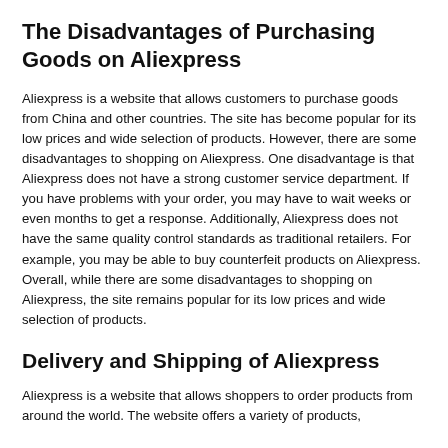The Disadvantages of Purchasing Goods on Aliexpress
Aliexpress is a website that allows customers to purchase goods from China and other countries. The site has become popular for its low prices and wide selection of products. However, there are some disadvantages to shopping on Aliexpress. One disadvantage is that Aliexpress does not have a strong customer service department. If you have problems with your order, you may have to wait weeks or even months to get a response. Additionally, Aliexpress does not have the same quality control standards as traditional retailers. For example, you may be able to buy counterfeit products on Aliexpress. Overall, while there are some disadvantages to shopping on Aliexpress, the site remains popular for its low prices and wide selection of products.
Delivery and Shipping of Aliexpress
Aliexpress is a website that allows shoppers to order products from around the world. The website offers a variety of products,